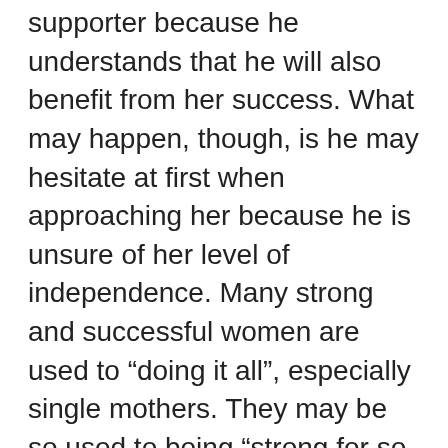supporter because he understands that he will also benefit from her success. What may happen, though, is he may hesitate at first when approaching her because he is unsure of her level of independence. Many strong and successful women are used to “doing it all”, especially single mothers. They may be so used to being “strong for so long” that they may not adjust easily to allow a caring man to enter their world and to be their friend, supporter, encourager and lover.

If there is a salary discrepancy where she